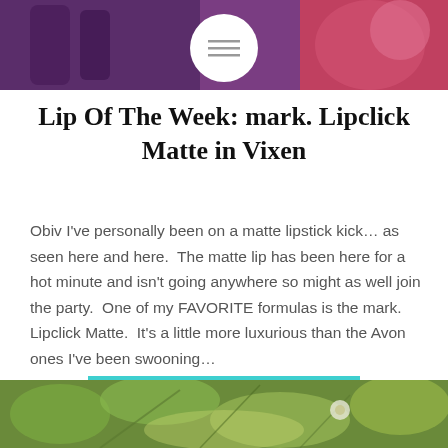[Figure (photo): Top banner photo showing purple lipstick/beauty products with pink background]
Lip Of The Week: mark. Lipclick Matte in Vixen
Obiv I've personally been on a matte lipstick kick… as seen here and here.  The matte lip has been here for a hot minute and isn't going anywhere so might as well join the party.  One of my FAVORITE formulas is the mark. Lipclick Matte.  It's a little more luxurious than the Avon ones I've been swooning…
READ MORE
[Figure (photo): Bottom banner photo showing green leafy plants/nature scene]